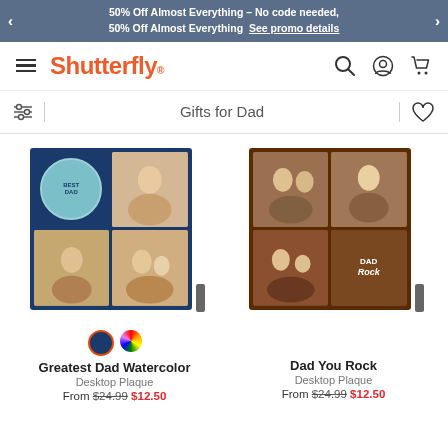50% Off Almost Everything – No code needed, 50% Off Almost Everything See promo details
[Figure (logo): Shutterfly logo with hamburger menu, search, account, and cart icons]
Gifts for Dad
[Figure (photo): Greatest Dad Watercolor Desktop Plaque product photo - navy blue plaque with family photos]
Greatest Dad Watercolor
Desktop Plaque
From $24.99 $12.50
[Figure (photo): Dad You Rock Desktop Plaque product photo - brown plaque with family photos]
Dad You Rock
Desktop Plaque
From $24.99 $12.50